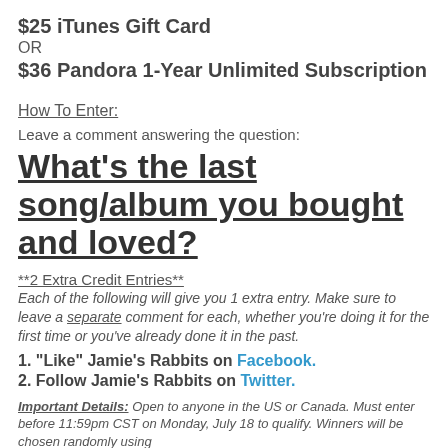$25 iTunes Gift Card
OR
$36 Pandora 1-Year Unlimited Subscription
How To Enter:
Leave a comment answering the question:
What's the last song/album you bought and loved?
**2 Extra Credit Entries**
Each of the following will give you 1 extra entry. Make sure to leave a separate comment for each, whether you're doing it for the first time or you've already done it in the past.
1. "Like" Jamie's Rabbits on Facebook.
2. Follow Jamie's Rabbits on Twitter.
Important Details: Open to anyone in the US or Canada. Must enter before 11:59pm CST on Monday, July 18 to qualify. Winners will be chosen randomly using